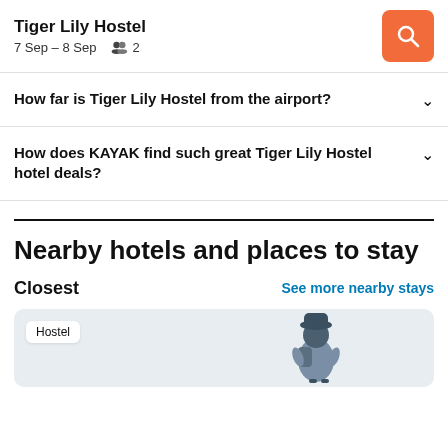Tiger Lily Hostel
7 Sep – 8 Sep   2
How far is Tiger Lily Hostel from the airport?
How does KAYAK find such great Tiger Lily Hostel hotel deals?
Nearby hotels and places to stay
Closest
See more nearby stays
[Figure (illustration): Illustration of a person with a backpack inside a card area labeled Hostel]